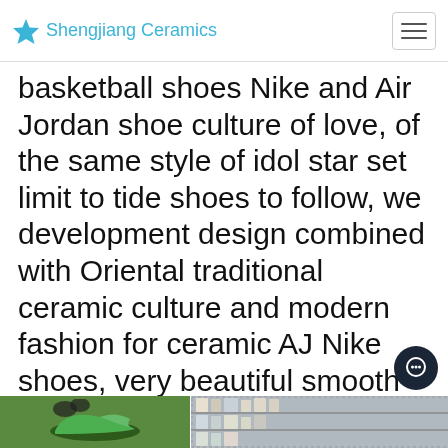Shengjiang Ceramics
basketball shoes Nike and Air Jordan shoe culture of love, of the same style of idol star set limit to tide shoes to follow, we development design combined with Oriental traditional ceramic culture and modern fashion for ceramic AJ Nike shoes, very beautiful smooth and exquisite, can be preserved for a long time, has a very high collection value and artistic value.
[Figure (photo): Bottom strip showing product images — green shoe on left, shelving/products on right]